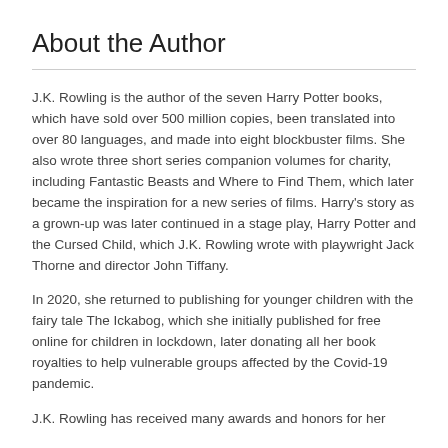About the Author
J.K. Rowling is the author of the seven Harry Potter books, which have sold over 500 million copies, been translated into over 80 languages, and made into eight blockbuster films. She also wrote three short series companion volumes for charity, including Fantastic Beasts and Where to Find Them, which later became the inspiration for a new series of films. Harry's story as a grown-up was later continued in a stage play, Harry Potter and the Cursed Child, which J.K. Rowling wrote with playwright Jack Thorne and director John Tiffany.
In 2020, she returned to publishing for younger children with the fairy tale The Ickabog, which she initially published for free online for children in lockdown, later donating all her book royalties to help vulnerable groups affected by the Covid-19 pandemic.
J.K. Rowling has received many awards and honors for her